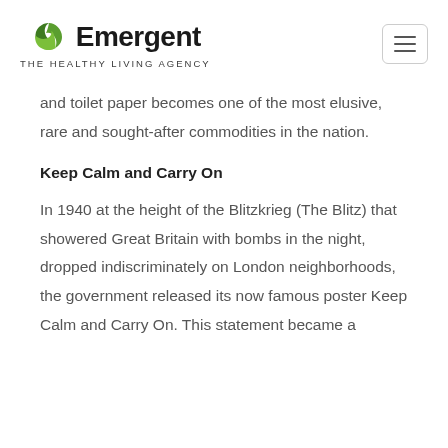Emergent THE HEALTHY LIVING AGENCY
and toilet paper becomes one of the most elusive, rare and sought-after commodities in the nation.
Keep Calm and Carry On
In 1940 at the height of the Blitzkrieg (The Blitz) that showered Great Britain with bombs in the night, dropped indiscriminately on London neighborhoods, the government released its now famous poster Keep Calm and Carry On. This statement became a